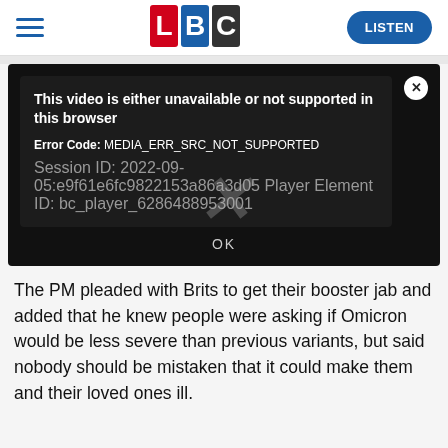[Figure (logo): LBC logo with red L, blue B, black C tiles]
[Figure (screenshot): Video player error dialog on black background. Title: 'This video is either unavailable or not supported in this browser'. Error Code: MEDIA_ERR_SRC_NOT_SUPPORTED. Session ID: 2022-09-05:e9f61e6fc9822153a86a3d05 Player Element ID: bc_player_6286488953001. OK button at bottom.]
The PM pleaded with Brits to get their booster jab and added that he knew people were asking if Omicron would be less severe than previous variants, but said nobody should be mistaken that it could make them and their loved ones ill.